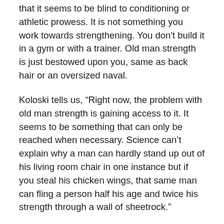that it seems to be blind to conditioning or athletic prowess. It is not something you work towards strengthening. You don't build it in a gym or with a trainer. Old man strength is just bestowed upon you, same as back hair or an oversized naval.
Koloski tells us, “Right now, the problem with old man strength is gaining access to it. It seems to be something that can only be reached when necessary. Science can’t explain why a man can hardly stand up out of his living room chair in one instance but if you steal his chicken wings, that same man can fling a person half his age and twice his strength through a wall of sheetrock.”
Koloski believes that old man strength is the energy source of the future.